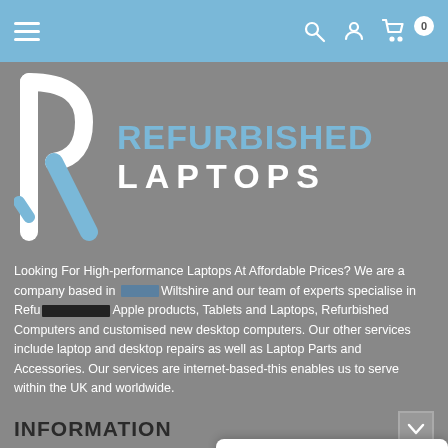Navigation bar with hamburger menu, search, account, and cart icons
[Figure (logo): Refurbished Laptops logo with stylized R mark and text 'REFURBISHED LAPTOPS']
Looking For High-performance Laptops At Affordable Prices? We are a company based in Wiltshire and our team of experts specialise in Refurbished Apple products, Tablets and Laptops, Refurbished Computers and customised new desktop computers. Our other services include laptop and desktop repairs as well as Laptop Parts and Accessories. Our services are internet-based-this enables us to serve within the UK and worldwide.
INFORMATION
WHY BUY FROM
Leave a message